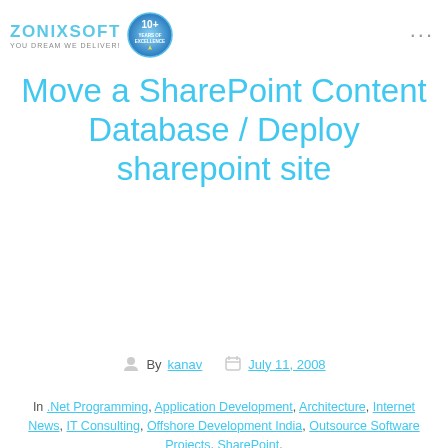ZONIXSOFT YOU DREAM WE DELIVER! [logo badge: 10+ Years of Excellence]
Move a SharePoint Content Database / Deploy sharepoint site
By kanav  July 11, 2008
In .Net Programming, Application Development, Architecture, Internet News, IT Consulting, Offshore Development India, Outsource Software Projects, SharePoint,